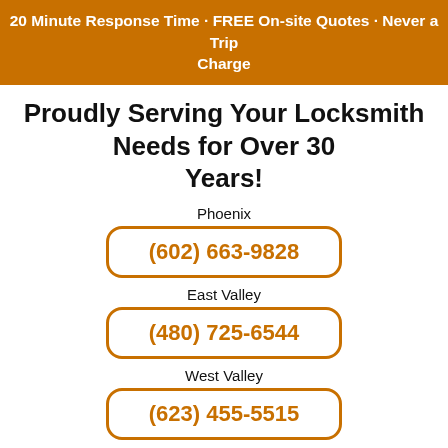20 Minute Response Time · FREE On-site Quotes · Never a Trip Charge
Proudly Serving Your Locksmith Needs for Over 30 Years!
Phoenix
(602) 663-9828
East Valley
(480) 725-6544
West Valley
(623) 455-5515
[Figure (logo): Metro Lock & Safe Inc. logo in large bold italic orange text with dark shadow]